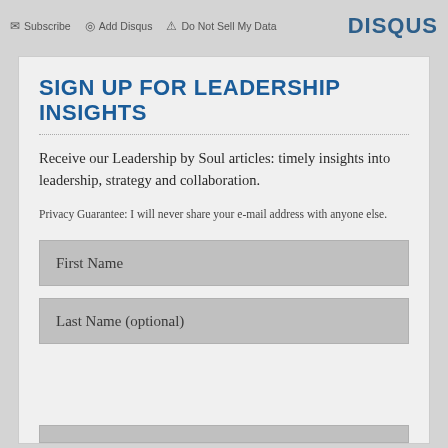Subscribe   Add Disqus   Do Not Sell My Data   DISQUS
SIGN UP FOR LEADERSHIP INSIGHTS
Receive our Leadership by Soul articles: timely insights into leadership, strategy and collaboration.
Privacy Guarantee: I will never share your e-mail address with anyone else.
First Name
Last Name (optional)